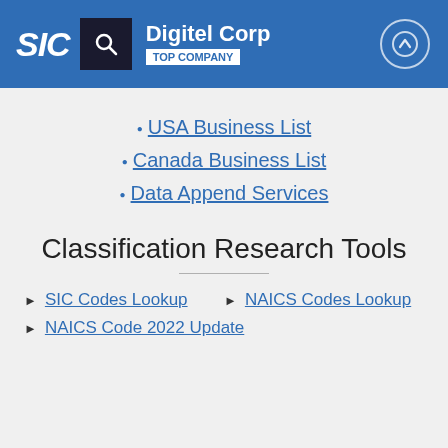SIC | Digitel Corp | TOP COMPANY
USA Business List
Canada Business List
Data Append Services
Classification Research Tools
SIC Codes Lookup
NAICS Codes Lookup
NAICS Code 2022 Update